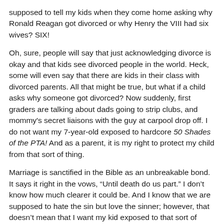supposed to tell my kids when they come home asking why Ronald Reagan got divorced or why Henry the VIII had six wives? SIX!
Oh, sure, people will say that just acknowledging divorce is okay and that kids see divorced people in the world. Heck, some will even say that there are kids in their class with divorced parents. All that might be true, but what if a child asks why someone got divorced? Now suddenly, first graders are talking about dads going to strip clubs, and mommy's secret liaisons with the guy at carpool drop off. I do not want my 7-year-old exposed to hardcore 50 Shades of the PTA! And as a parent, it is my right to protect my child from that sort of thing.
Marriage is sanctified in the Bible as an unbreakable bond. It says it right in the vows, “Until death do us part.” I don’t know how much clearer it could be. And I know that we are supposed to hate the sin but love the sinner; however, that doesn’t mean that I want my kid exposed to that sort of thing. I have freedom of religion, and my child should not be forced to be exposed to anything that goes against what they see in church.